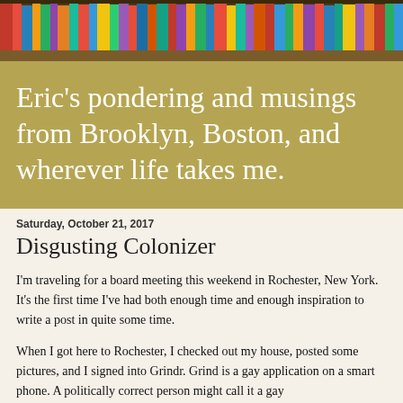[Figure (photo): A colorful bookshelf with many books of various colors arranged horizontally, serving as a decorative blog header image]
Eric's pondering and musings from Brooklyn, Boston, and wherever life takes me.
Saturday, October 21, 2017
Disgusting Colonizer
I'm traveling for a board meeting this weekend in Rochester, New York.  It's the first time I've had both enough time and enough inspiration to write a post in quite some time.
When I got here to Rochester, I checked out my house, posted some pictures, and I signed into Grindr.  Grind is a gay application on a smart phone.  A politically correct person might call it a gay